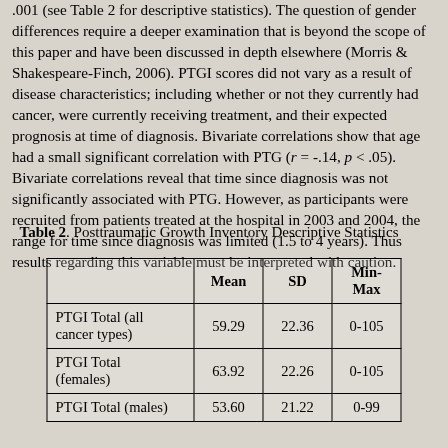.001 (see Table 2 for descriptive statistics). The question of gender differences require a deeper examination that is beyond the scope of this paper and have been discussed in depth elsewhere (Morris & Shakespeare-Finch, 2006). PTGI scores did not vary as a result of disease characteristics; including whether or not they currently had cancer, were currently receiving treatment, and their expected prognosis at time of diagnosis. Bivariate correlations show that age had a small significant correlation with PTG (r = -.14, p < .05). Bivariate correlations reveal that time since diagnosis was not significantly associated with PTG. However, as participants were recruited from patients treated at the hospital in 2003 and 2004, the range for time since diagnosis was limited (1.5 to 4 years). Thus results regarding this variable must be interpreted with caution.
Table 2. Posttraumatic Growth Inventory Descriptive Statistics
|  | Mean | SD | Min-Max |
| --- | --- | --- | --- |
| PTGI Total (all cancer types) | 59.29 | 22.36 | 0-105 |
| PTGI Total (females) | 63.92 | 22.26 | 0-105 |
| PTGI Total (males) | 53.60 | 21.22 | 0-99 |